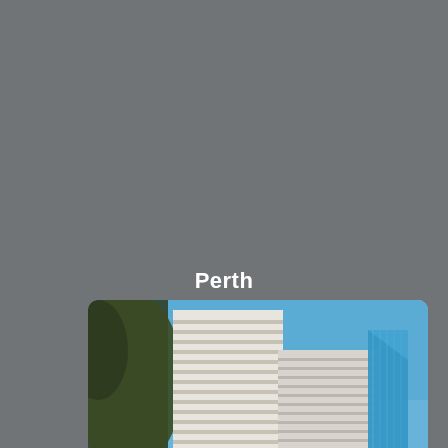Perth
[Figure (photo): Upward-angled photograph of tall city skyscrapers in Perth against a clear blue sky, with trees visible on the left side. Buildings include a white multi-story office tower and a blue glass tower. Watermark text reads: Bankruptcy Experts Reviews]